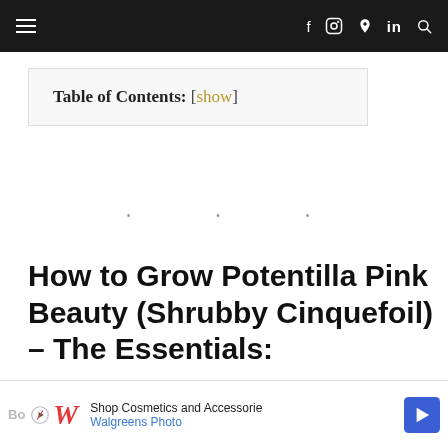≡  f  ⊙  𝒫  in  🔍
Table of Contents: [show]
• • •
How to Grow Potentilla Pink Beauty (Shrubby Cinquefoil) – The Essentials:
[Figure (other): Advertisement banner for Walgreens Photo — Shop Cosmetics and Accessories]